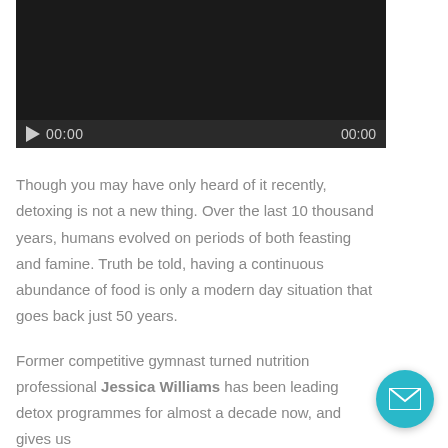[Figure (screenshot): Video player with dark/black background and playback controls showing play button and time display 00:00 on both sides]
Though you may have only heard of it recently, detoxing is not a new thing. Over the last 10 thousand years, humans evolved on periods of both feasting and famine. Truth be told, having a continuous abundance of food is only a modern day situation that goes back just 50 years.
Former competitive gymnast turned nutrition professional Jessica Williams has been leading detox programmes for almost a decade now, and gives us